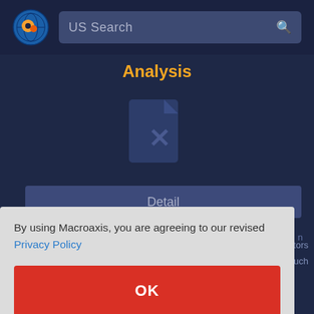[Figure (screenshot): Macroaxis website screenshot showing top navigation bar with logo and US Search bar, Analysis section header in orange, a broken file/X icon indicating missing content, and a Detail button below it.]
By using Macroaxis, you are agreeing to our revised Privacy Policy
OK
factors as earnings, sales, fundamental and technical